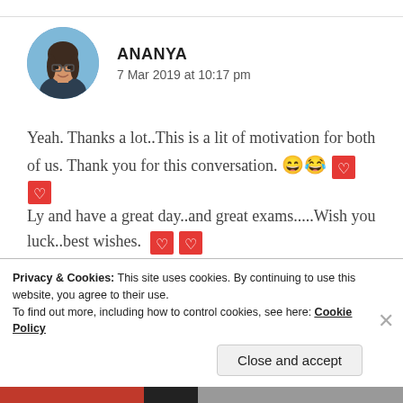[Figure (photo): Circular avatar photo of a young woman smiling, with glasses, outdoor background]
ANANYA
7 Mar 2019 at 10:17 pm
Yeah. Thanks a lot..This is a lit of motivation for both of us. Thank you for this conversation. 😄😂🤍🤍
Ly and have a great day..and great exams.....Wish you luck..best wishes. 🤍🤍
★ Liked by 1 person
Privacy & Cookies: This site uses cookies. By continuing to use this website, you agree to their use.
To find out more, including how to control cookies, see here: Cookie Policy
Close and accept